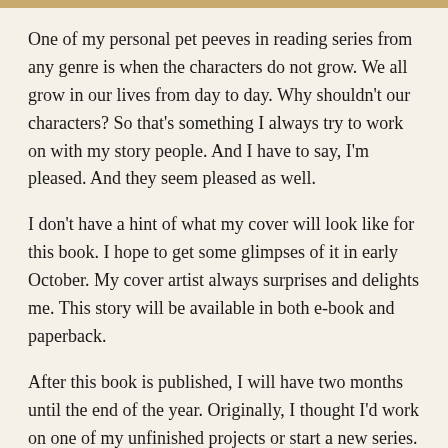One of my personal pet peeves in reading series from any genre is when the characters do not grow. We all grow in our lives from day to day. Why shouldn't our characters? So that's something I always try to work on with my story people. And I have to say, I'm pleased. And they seem pleased as well.
I don't have a hint of what my cover will look like for this book. I hope to get some glimpses of it in early October. My cover artist always surprises and delights me. This story will be available in both e-book and paperback.
After this book is published, I will have two months until the end of the year. Originally, I thought I'd work on one of my unfinished projects or start a new series. But I always try to listen to what my characters want too.